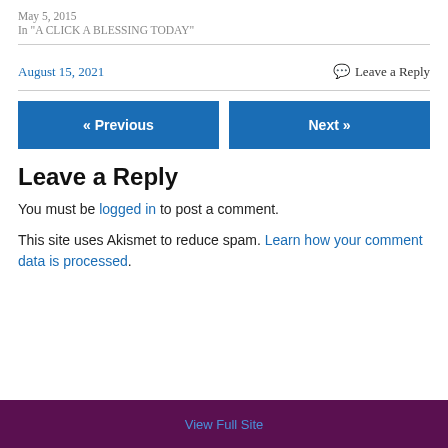May 5, 2015
In "A CLICK A BLESSING TODAY"
August 15, 2021   💬 Leave a Reply
« Previous   Next »
Leave a Reply
You must be logged in to post a comment.
This site uses Akismet to reduce spam. Learn how your comment data is processed.
View Full Site